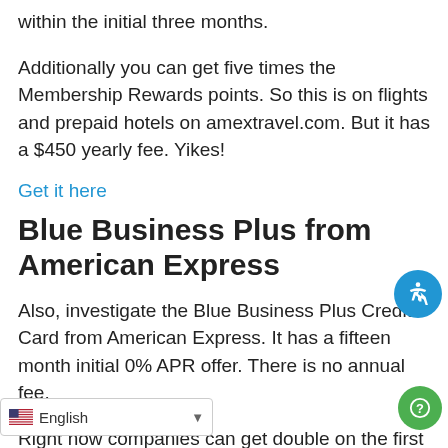within the initial three months.
Additionally you can get five times the Membership Rewards points. So this is on flights and prepaid hotels on amextravel.com. But it has a $450 yearly fee. Yikes!
Get it here
Blue Business Plus from American Express
Also, investigate the Blue Business Plus Credit Card from American Express. It has a fifteen month initial 0% APR offer. There is no annual fee.
Right now companies can get double on the first $50,000 in